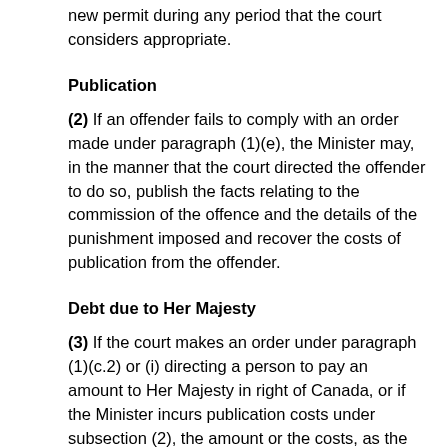new permit during any period that the court considers appropriate.
Publication
(2) If an offender fails to comply with an order made under paragraph (1)(e), the Minister may, in the manner that the court directed the offender to do so, publish the facts relating to the commission of the offence and the details of the punishment imposed and recover the costs of publication from the offender.
Debt due to Her Majesty
(3) If the court makes an order under paragraph (1)(c.2) or (i) directing a person to pay an amount to Her Majesty in right of Canada, or if the Minister incurs publication costs under subsection (2), the amount or the costs, as the case may be, constitute a debt due to Her Majesty in right of Canada and may be